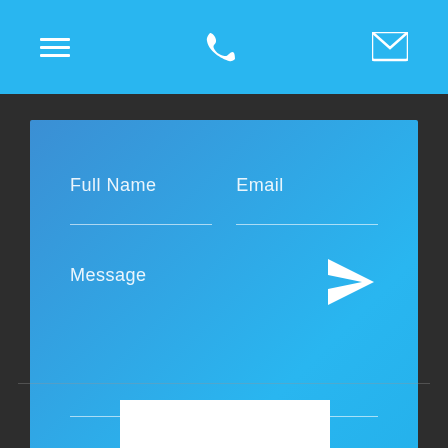[Figure (screenshot): Mobile app UI screenshot showing a contact form with navigation bar (hamburger menu, phone icon, envelope icon) on a blue background, a contact form card with Full Name, Email, Message fields and a paper plane send icon, on a dark background with a white content area below]
Full Name
Email
Message